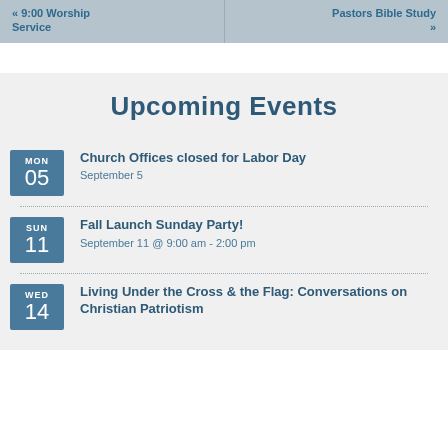« 9:00 Worship Service | Pastors Bible Study »
Upcoming Events
MON 05 | Church Offices closed for Labor Day | September 5
SUN 11 | Fall Launch Sunday Party! | September 11 @ 9:00 am - 2:00 pm
WED 14 | Living Under the Cross & the Flag: Conversations on Christian Patriotism